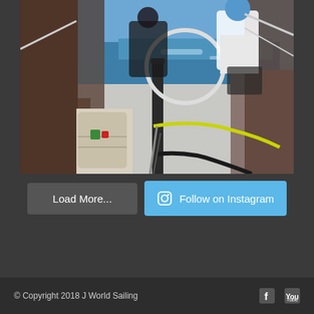[Figure (photo): View from inside a sailboat cockpit looking toward the bow. Two crew members visible on deck, blue ocean and sky in background. Sailing equipment, ropes, and gear visible on deck. Photo taken during a sailing race or offshore voyage.]
Load More...
Follow on Instagram
© Copyright 2018 J World Sailing